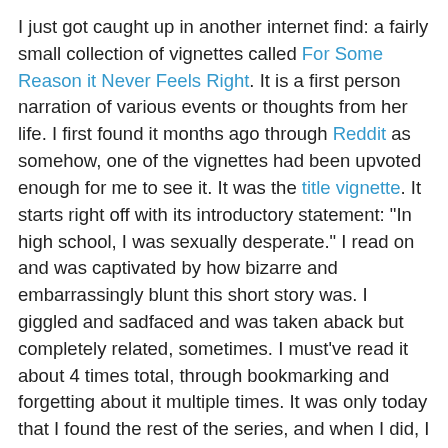I just got caught up in another internet find: a fairly small collection of vignettes called For Some Reason it Never Feels Right. It is a first person narration of various events or thoughts from her life. I first found it months ago through Reddit as somehow, one of the vignettes had been upvoted enough for me to see it. It was the title vignette. It starts right off with its introductory statement: "In high school, I was sexually desperate." I read on and was captivated by how bizarre and embarrassingly blunt this short story was. I giggled and sadfaced and was taken aback but completely related, sometimes. I must've read it about 4 times total, through bookmarking and forgetting about it multiple times. It was only today that I found the rest of the series, and when I did, I read them all. I wish there were more.
Usually I satisfy these cravings for quirky stories of depressed people by reading my old favorite, You Don't Know Me by David Klass, but I had lent it to so many people that somewhere in the exchange it got lost. I used to read that thing at least once a year when things got stressful. So depressing but so charmingly funny. It always fit me into a good niche and gave me a strange sort of hope.